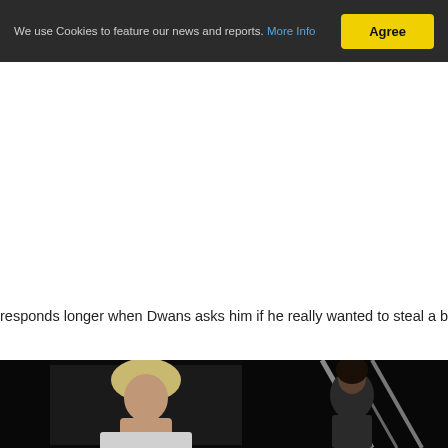We use Cookies to feature our news and reports. More Info  [Agree button]
[Figure (photo): Black and white still from a film or TV show showing several people seated at a diner or cafeteria table, viewed from the side. Multiple figures visible in dim lighting.]
responds longer when Dwans asks him if he really wanted to steal a boat: "Yeap, loo
[Figure (photo): Black and white photo showing a blonde woman from the shoulders up, with dark background, appearing to speak or react. Film still.]
[Figure (photo): Black and white photo showing a dark-haired person outdoors with rigging or ropes visible, dark background. Film still.]